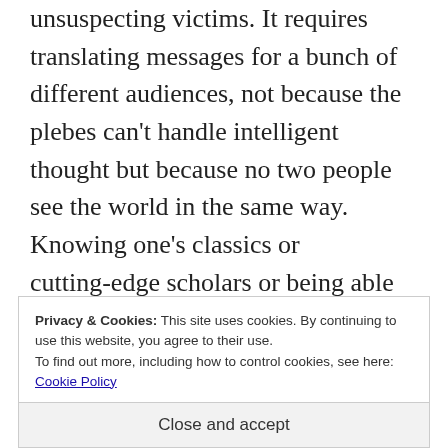unsuspecting victims. It requires translating messages for a bunch of different audiences, not because the plebes can't handle intelligent thought but because no two people see the world in the same way. Knowing one's classics or cutting-edge scholars or being able to construct abstract theories are signs of intelligence, not wisdom, and divorced of some understanding of how conditions all
Privacy & Cookies: This site uses cookies. By continuing to use this website, you agree to their use.
To find out more, including how to control cookies, see here: Cookie Policy
Close and accept